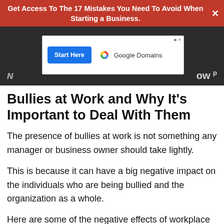Get Access To The 17 Mistakes You Need To Avoid When Starting a Business.
[Figure (screenshot): Advertisement banner with 'Start Here' button in blue and Google Domains logo with gold/red checkmark icon. Small ad label with 'D X' in top right corner.]
Bullies at Work and Why It's Important to Deal With Them
The presence of bullies at work is not something any manager or business owner should take lightly.
This is because it can have a big negative impact on the individuals who are being bullied and the organization as a whole.
Here are some of the negative effects of workplace